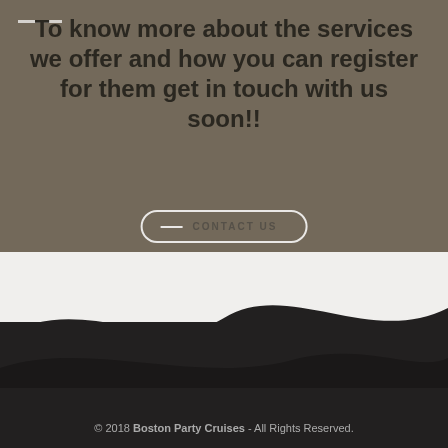To know more about the services we offer and how you can register for them get in touch with us soon!!
CONTACT US
© 2018 Boston Party Cruises - All Rights Reserved.